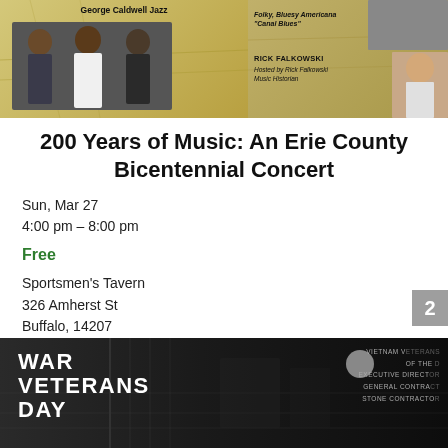[Figure (photo): Concert promotional image split into two sections: left shows George Caldwell Jazz with musicians photos, right shows Folky Bluesy Americana Canal Blues with Rick Falkowski Music Historian]
200 Years of Music: An Erie County Bicentennial Concert
Sun, Mar 27
4:00 pm – 8:00 pm
Free
Sportsmen's Tavern
326 Amherst St
Buffalo, 14207
North Buffalo
[Figure (photo): WAR VETERANS DAY promotional image with dark background showing text overlays including Vietnam Veterans, Executive Director, General Contractor, Stone Contractor]